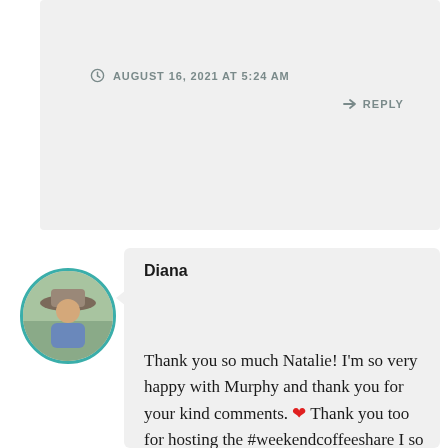AUGUST 16, 2021 AT 5:24 AM
REPLY
Diana
Thank you so much Natalie! I'm so very happy with Murphy and thank you for your kind comments. ❤ Thank you too for hosting the #weekendcoffeeshare I so love to share and I